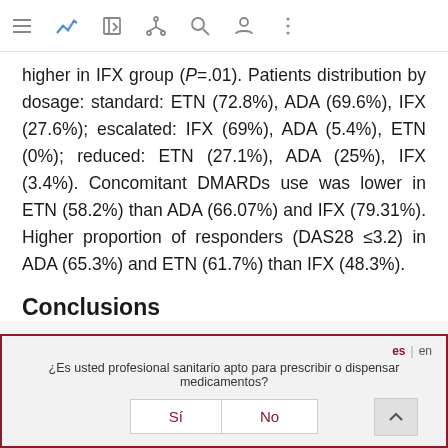Navigation bar with icons
higher in IFX group (P=.01). Patients distribution by dosage: standard: ETN (72.8%), ADA (69.6%), IFX (27.6%); escalated: IFX (69%), ADA (5.4%), ETN (0%); reduced: ETN (27.1%), ADA (25%), IFX (3.4%). Concomitant DMARDs use was lower in ETN (58.2%) than ADA (66.07%) and IFX (79.31%). Higher proportion of responders (DAS28 ≤3.2) in ADA (65.3%) and ETN (61.7%) than IFX (48.3%).
Conclusions
¿Es usted profesional sanitario apto para prescribir o dispensar medicamentos?